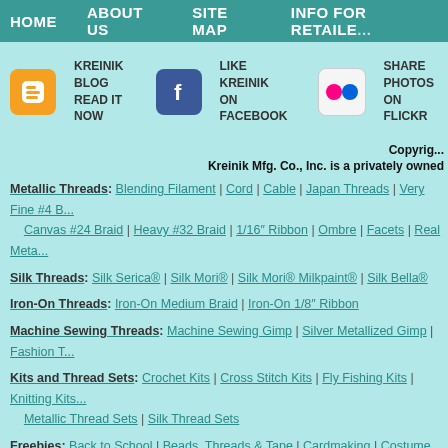HOME | ABOUT US | SITE MAP | INFO FOR RETAILERS
[Figure (other): Blogger icon - orange rounded square with B letter]
KREINIK BLOG
READ IT NOW
[Figure (other): Facebook icon - blue square with white f letter]
LIKE KREINIK
ON FACEBOOK
[Figure (other): Flickr icon - white rounded square with colored dots]
SHARE PHOTOS
ON FLICKR
Copyright
Kreinik Mfg. Co., Inc. is a privately owned
Metallic Threads: Blending Filament | Cord | Cable | Japan Threads | Very Fine #4 B... Canvas #24 Braid | Heavy #32 Braid | 1/16" Ribbon | Ombre | Facets | Real Meta...
Silk Threads: Silk Serica® | Silk Mori® | Silk Mori® Milkpaint® | Silk Bella®
Iron-On Threads: Iron-On Medium Braid | Iron-On 1/8" Ribbon
Machine Sewing Threads: Machine Sewing Gimp | Silver Metallized Gimp | Fashion T...
Kits and Thread Sets: Crochet Kits | Cross Stitch Kits | Fly Fishing Kits | Knitting Kits... Metallic Thread Sets | Silk Thread Sets
Freebies: Back to School | Beads, Threads & Tape | Cardmaking | Costume Making |... Hardanger | Home Decor | Iron-On | Jewelry | Kids Projects | Miniatures | Needl... Rubber Stamping | Scrapbooking | Surface Embroidery
Website desig...